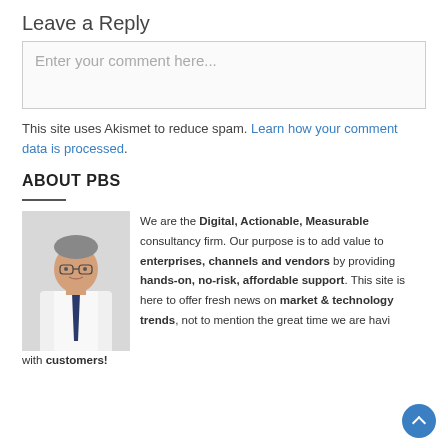Leave a Reply
Enter your comment here...
This site uses Akismet to reduce spam. Learn how your comment data is processed.
ABOUT PBS
[Figure (photo): Photo of a man in a white shirt and dark tie, wearing glasses]
We are the Digital, Actionable, Measurable consultancy firm. Our purpose is to add value to enterprises, channels and vendors by providing hands-on, no-risk, affordable support. This site is here to offer fresh news on market & technology trends, not to mention the great time we are having with customers!